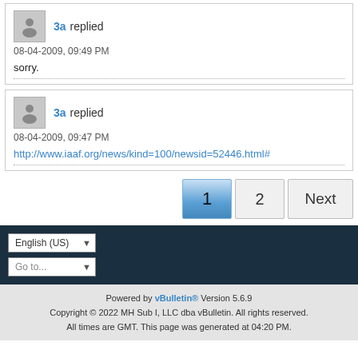3a replied
08-04-2009, 09:49 PM
sorry.
3a replied
08-04-2009, 09:47 PM
http://www.iaaf.org/news/kind=100/newsid=52446.html#
Pagination: 1 2 Next
English (US)
Go to...
Powered by vBulletin® Version 5.6.9
Copyright © 2022 MH Sub I, LLC dba vBulletin. All rights reserved.
All times are GMT. This page was generated at 04:20 PM.